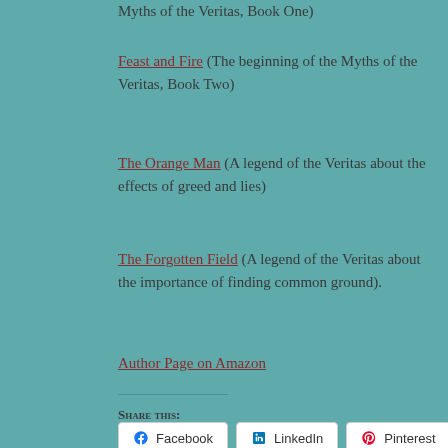Myths of the Veritas, Book One)
Feast and Fire (The beginning of the Myths of the Veritas, Book Two)
The Orange Man (A legend of the Veritas about the effects of greed and lies)
The Forgotten Field (A legend of the Veritas about the importance of finding common ground).
Author Page on Amazon
Share this:
Facebook
LinkedIn
Pinterest
Twitter
Loading...